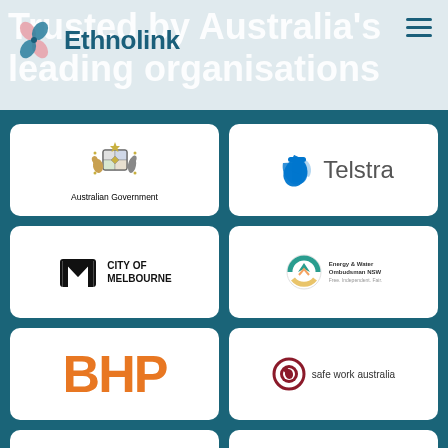Trusted by Australia's leading organisations
[Figure (logo): Ethnolink logo with pinwheel icon]
[Figure (logo): Australian Government crest logo]
[Figure (logo): Telstra logo]
[Figure (logo): City of Melbourne logo]
[Figure (logo): Energy & Water Ombudsman NSW logo]
[Figure (logo): BHP logo]
[Figure (logo): Safe Work Australia logo]
[Figure (logo): Partially visible logo at bottom right (City of...)]